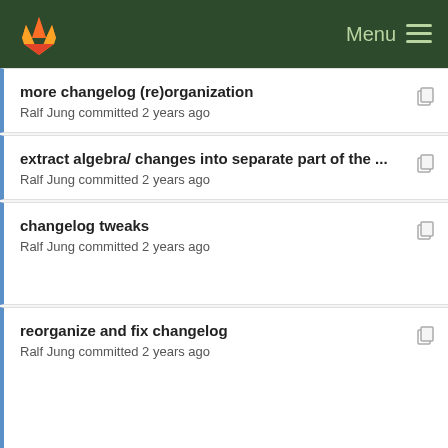GitLab — Menu
more changelog (re)organization — Ralf Jung committed 2 years ago
extract algebra/ changes into separate part of the ... — Ralf Jung committed 2 years ago
changelog tweaks — Ralf Jung committed 2 years ago
reorganize and fix changelog — Ralf Jung committed 2 years ago
Fix typos